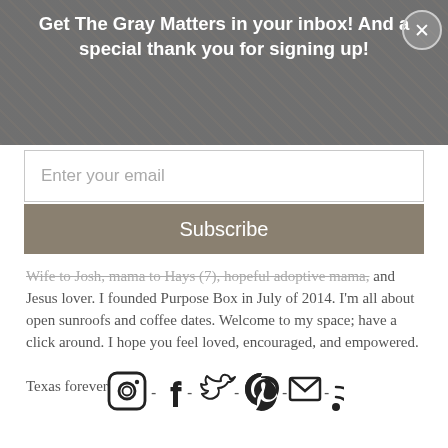Get The Gray Matters in your inbox! And a special thank you for signing up!
Enter your email
Subscribe
Wife to Josh, mama to Hays (7), hopeful adoptive mama, and Jesus lover. I founded Purpose Box in July of 2014. I'm all about open sunroofs and coffee dates. Welcome to my space; have a click around. I hope you feel loved, encouraged, and empowered.

Texas forever.
[Figure (infographic): Row of social media icons: Instagram, Facebook, Twitter, Pinterest, Email/envelope, RSS feed]